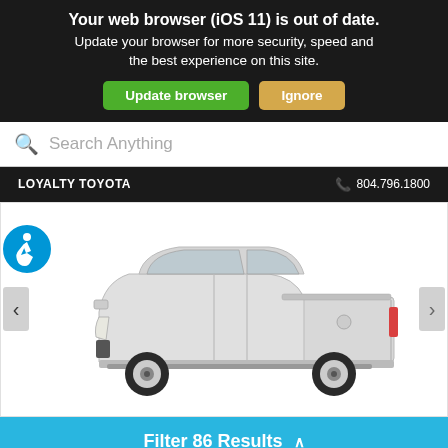Your web browser (iOS 11) is out of date. Update your browser for more security, speed and the best experience on this site.
Update browser
Ignore
Search Anything
LOYALTY TOYOTA
804.796.1800
[Figure (photo): Side profile view of a silver Toyota Tundra pickup truck on white background]
Filter 86 Results ^